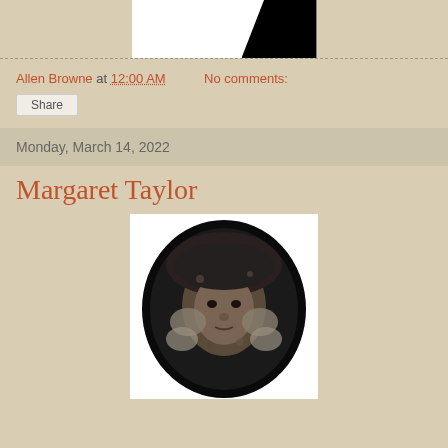[Figure (photo): Partial view of a blog header image showing white background with black shape on the right side]
Allen Browne at 12:00 AM   No comments:
Share
Monday, March 14, 2022
Margaret Taylor
[Figure (photo): Old black and white oval portrait photograph of a woman wearing a bonnet with ruffled trim, likely mid-19th century style]